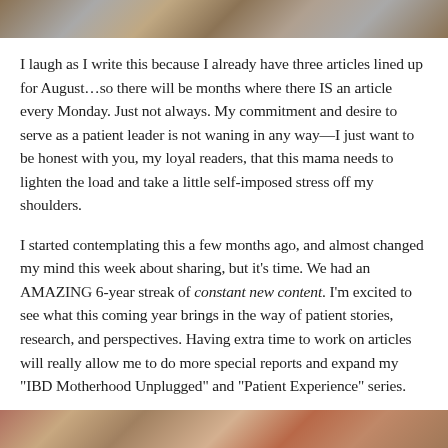[Figure (photo): Top photo strip showing partial image of people]
I laugh as I write this because I already have three articles lined up for August…so there will be months where there IS an article every Monday. Just not always. My commitment and desire to serve as a patient leader is not waning in any way—I just want to be honest with you, my loyal readers, that this mama needs to lighten the load and take a little self-imposed stress off my shoulders.
I started contemplating this a few months ago, and almost changed my mind this week about sharing, but it's time. We had an AMAZING 6-year streak of constant new content. I'm excited to see what this coming year brings in the way of patient stories, research, and perspectives. Having extra time to work on articles will really allow me to do more special reports and expand my "IBD Motherhood Unplugged" and "Patient Experience" series.
[Figure (photo): Bottom photo strip showing partial image with brick and person]